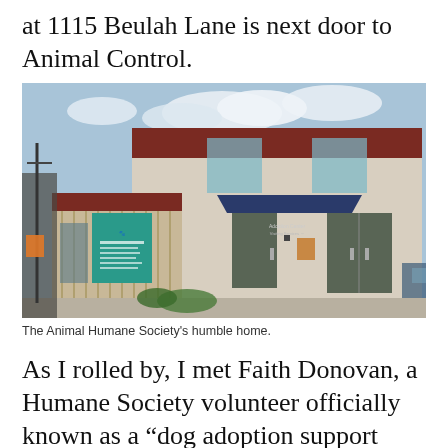at 1115 Beulah Lane is next door to Animal Control.
[Figure (photo): Exterior photograph of the Animal Humane Society building at 1115 Beulah Lane. A two-story beige stucco building with a dark red/maroon upper band, a blue awning over the entrance, a teal-colored sign panel on the left side, and glass double doors at the entry. Concrete driveway in front.]
The Animal Humane Society's humble home.
As I rolled by, I met Faith Donovan, a Humane Society volunteer officially known as a “dog adoption support person,” who was walking a puppy